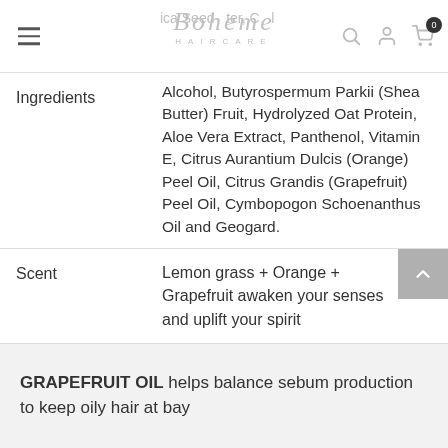Boheme HAIRCARE
|  |  |
| --- | --- |
| Ingredients | ...Arnica Seed Butter, Cetyl Alcohol, Butyrospermum Parkii (Shea Butter) Fruit, Hydrolyzed Oat Protein, Aloe Vera Extract, Panthenol, Vitamin E, Citrus Aurantium Dulcis (Orange) Peel Oil, Citrus Grandis (Grapefruit) Peel Oil, Cymbopogon Schoenanthus Oil and Geogard. |
| Scent | Lemon grass + Orange + Grapefruit awaken your senses and uplift your spirit |
GRAPEFRUIT OIL helps balance sebum production to keep oily hair at bay
KAOLIN CLAY gently removes excess oil and product build up keeping your